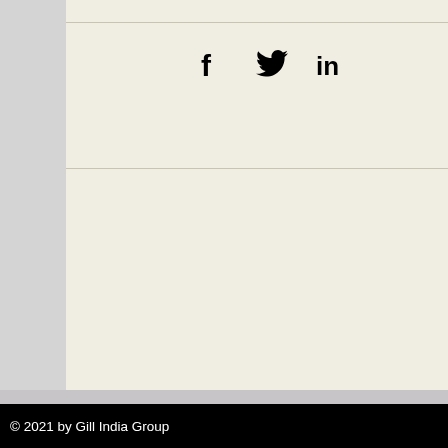[Figure (other): Social media sharing icons: Facebook (f), Twitter (bird), LinkedIn (in)]
© 2021 by Gill India Group